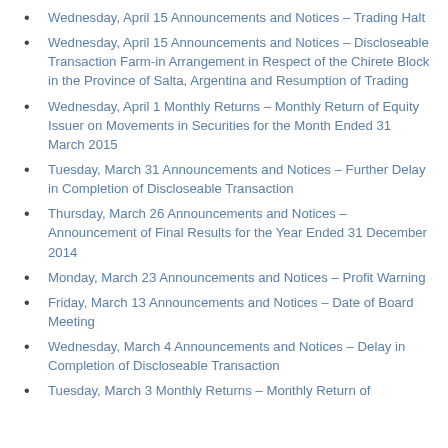Wednesday, April 15 Announcements and Notices – Trading Halt
Wednesday, April 15 Announcements and Notices – Discloseable Transaction Farm-in Arrangement in Respect of the Chirete Block in the Province of Salta, Argentina and Resumption of Trading
Wednesday, April 1 Monthly Returns – Monthly Return of Equity Issuer on Movements in Securities for the Month Ended 31 March 2015
Tuesday, March 31 Announcements and Notices – Further Delay in Completion of Discloseable Transaction
Thursday, March 26 Announcements and Notices – Announcement of Final Results for the Year Ended 31 December 2014
Monday, March 23 Announcements and Notices – Profit Warning
Friday, March 13 Announcements and Notices – Date of Board Meeting
Wednesday, March 4 Announcements and Notices – Delay in Completion of Discloseable Transaction
Tuesday, March 3 Monthly Returns – Monthly Return of…